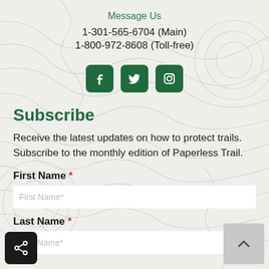Message Us
1-301-565-6704 (Main)
1-800-972-8608 (Toll-free)
[Figure (illustration): Social media icons: Facebook, Twitter, Instagram in dark green rounded square buttons]
Subscribe
Receive the latest updates on how to protect trails. Subscribe to the monthly edition of Paperless Trail.
First Name *
First Name*
Last Name *
Last Name*